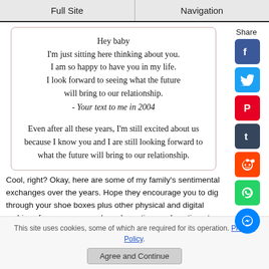Full Site | Navigation
Hey baby
I'm just sitting here thinking about you.
I am so happy to have you in my life.
I look forward to seeing what the future will bring to our relationship.
- Your text to me in 2004

Even after all these years, I'm still excited about us because I know you and I are still looking forward to what the future will bring to our relationship.
Cool, right? Okay, here are some of my family's sentimental exchanges over the years. Hope they encourage you to dig through your shoe boxes plus other physical and digital archives for your own words and greeting card sentiments.
Some of my family's sentimental exchanges
In case you missed it, some of the texts here are so old that I had to dig out an old phone that would work with the old sim card. Interesting, right?
This site uses cookies, some of which are required for its operation. Privacy Policy.
Agree and Continue